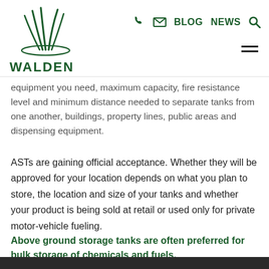WALDEN — BLOG NEWS (navigation icons)
equipment you need, maximum capacity, fire resistance level and minimum distance needed to separate tanks from one another, buildings, property lines, public areas and dispensing equipment.
ASTs are gaining official acceptance. Whether they will be approved for your location depends on what you plan to store, the location and size of your tanks and whether your product is being sold at retail or used only for private motor-vehicle fueling.
Above ground storage tanks are often preferred for bulk storage of chemicals and fuels.
[Figure (photo): Dark image strip at bottom of page]